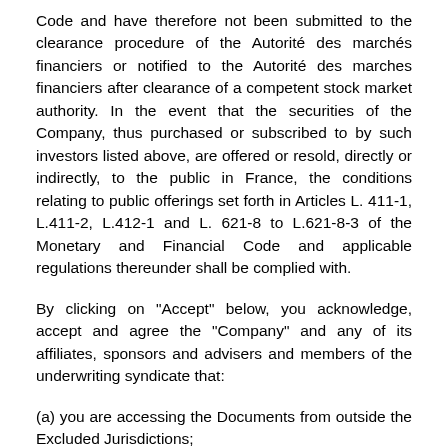Code and have therefore not been submitted to the clearance procedure of the Autorité des marchés financiers or notified to the Autorité des marches financiers after clearance of a competent stock market authority. In the event that the securities of the Company, thus purchased or subscribed to by such investors listed above, are offered or resold, directly or indirectly, to the public in France, the conditions relating to public offerings set forth in Articles L. 411-1, L.411-2, L.412-1 and L. 621-8 to L.621-8-3 of the Monetary and Financial Code and applicable regulations thereunder shall be complied with.
By clicking on "Accept" below, you acknowledge, accept and agree the "Company" and any of its affiliates, sponsors and advisers and members of the underwriting syndicate that:
(a) you are accessing the Documents from outside the Excluded Jurisdictions;